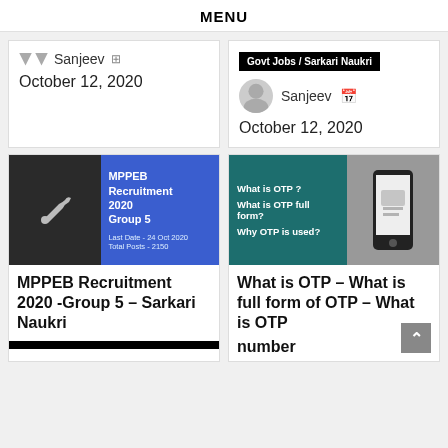MENU
Sanjeev   October 12, 2020
Govt Jobs / Sarkari Naukri  Sanjeev  October 12, 2020
MPPEB Recruitment 2020 -Group 5 – Sarkari Naukri
What is OTP – What is full form of OTP – What is OTP number